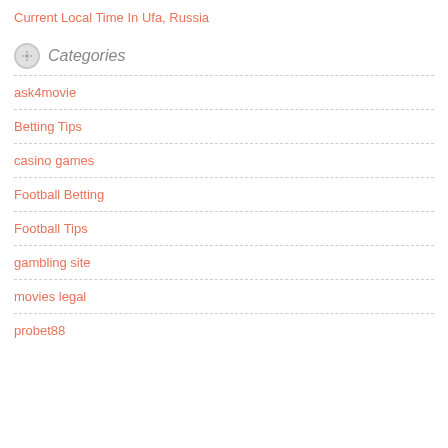Current Local Time In Ufa, Russia
Categories
ask4movie
Betting Tips
casino games
Football Betting
Football Tips
gambling site
movies legal
probet88